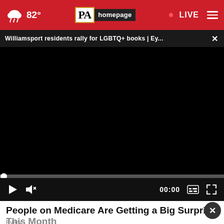82° PA homepage • LIVE
Williamsport residents rally for LGBTQ+ books | Ey...
[Figure (screenshot): Black video player area, paused at 00:00 with play button, mute button, timestamp 00:00, captions button, and fullscreen button on dark control bar]
People on Medicare Are Getting a Big Surprise This Month
Every...
[Figure (other): Advertisement banner: Cortland Pentagon City - Newly Renovated Apartments with a dark circular logo and Contact Us button]